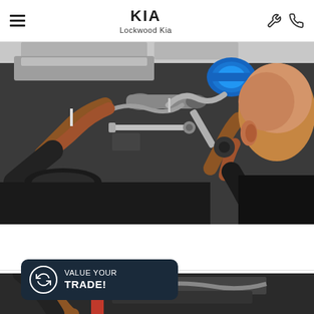Lockwood Kia
[Figure (photo): Mechanic working underneath a vehicle on a lift, using a ratchet/wrench on engine components. Close-up view showing hands on tools, vehicle undercarriage with exhaust components and a blue air filter visible.]
[Figure (infographic): VALUE YOUR TRADE! banner with circular refresh/trade icon on dark navy background]
[Figure (photo): Partial view of second service/mechanic photo at bottom of page, vehicle undercarriage visible]